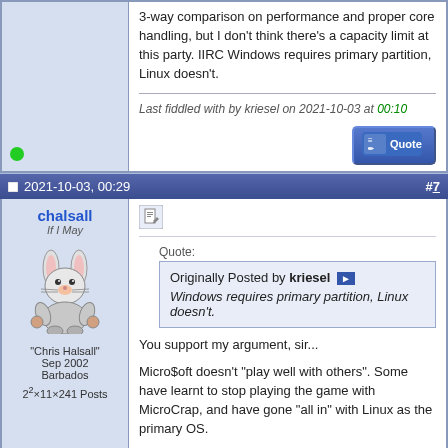3-way comparison on performance and proper core handling, but I don't think there's a capacity limit at this party. IIRC Windows requires primary partition, Linux doesn't.
Last fiddled with by kriesel on 2021-10-03 at 00:10
2021-10-03, 00:29   #7
chalsall
If I May
"Chris Halsall"
Sep 2002
Barbados
2^2×11×241 Posts
[Figure (illustration): Avatar of chalsall: cartoon rabbit/donkey character in fighting pose]
Quote:
Originally Posted by kriesel
Windows requires primary partition, Linux doesn't.
You support my argument, sir...

Micro$oft doesn't "play well with others". Some have learnt to stop playing the game with MicroCrap, and have gone "all in" with Linux as the primary OS.

Particularly, being tricked into thinking running virtual environments under WinBlows 10 (now being forced to